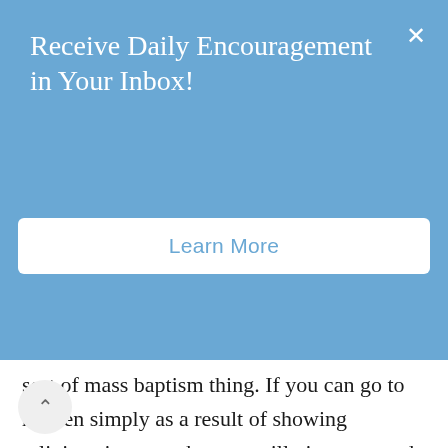Receive Daily Encouragement in Your Inbox!
Learn More
sort of mass baptism thing. If you can go to heaven simply as a result of showing religious interest, then we will give you cards as you leave which say, “Mr. and Mrs. X have been showing a great deal of religious interest lately.” If you can go to heaven simply as a result of having come from the right kind of background and engaged in the right kind of things, then it is foolishness to speak as I address you this morning.